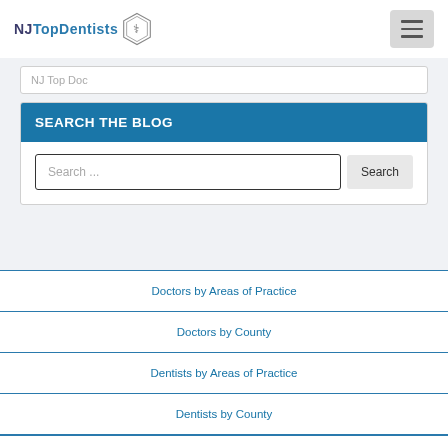NJ Top Dentists
NJ Top Doc (partial text, truncated input)
SEARCH THE BLOG
Search ...
Doctors by Areas of Practice
Doctors by County
Dentists by Areas of Practice
Dentists by County
About Us